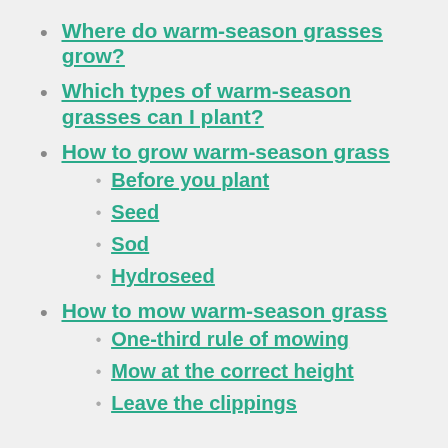Where do warm-season grasses grow?
Which types of warm-season grasses can I plant?
How to grow warm-season grass
Before you plant
Seed
Sod
Hydroseed
How to mow warm-season grass
One-third rule of mowing
Mow at the correct height
Leave the clippings